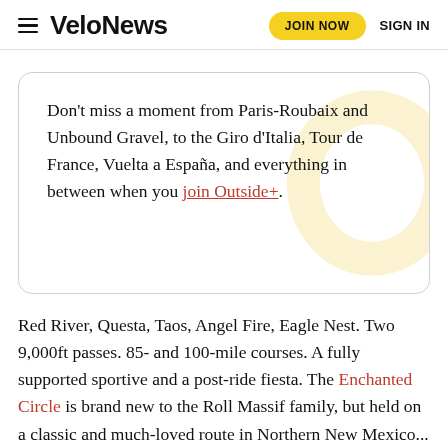VeloNews | JOIN NOW | SIGN IN
Don't miss a moment from Paris-Roubaix and Unbound Gravel, to the Giro d'Italia, Tour de France, Vuelta a España, and everything in between when you join Outside+.
Red River, Questa, Taos, Angel Fire, Eagle Nest. Two 9,000ft passes. 85- and 100-mile courses. A fully supported sportive and a post-ride fiesta. The Enchanted Circle is brand new to the Roll Massif family, but held on a classic and much-loved route in Northern New Mexico...